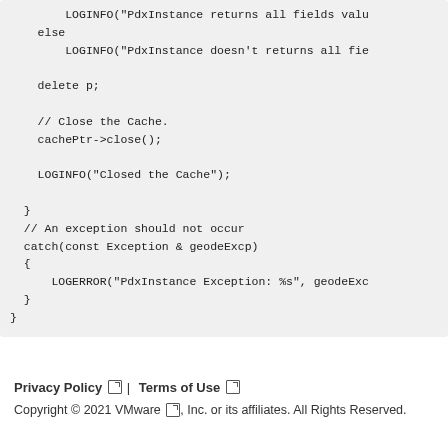LOGINFO("PdxInstance returns all fields val...
else
    LOGINFO("PdxInstance doesn't returns all fie...

delete p;

// Close the Cache.
cachePtr->close();

LOGINFO("Closed the Cache");

}
// An exception should not occur
catch(const Exception & geodeExcp)
{
    LOGERROR("PdxInstance Exception: %s", geodeExc...
}
}
Privacy Policy | Terms of Use
Copyright © 2021 VMware, Inc. or its affiliates. All Rights Reserved.